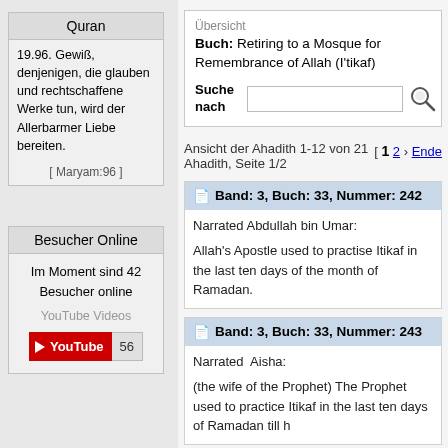Quran
19.96. Gewiß, denjenigen, die glauben und rechtschaffene Werke tun, wird der Allerbarmer Liebe bereiten.
[ Maryam:96 ]
Besucher Online
Im Moment sind 42 Besucher online
YouTube Videos
YouTube 56
Übersicht
Buch: Retiring to a Mosque for Remembrance of Allah (I'tikaf)
Suche nach
Ansicht der Ahadith 1-12 von 21 Ahadith, Seite 1/2
[ 1 2 › Ende
Band: 3, Buch: 33, Nummer: 242
Narrated Abdullah bin Umar:

Allah's Apostle used to practise Itikaf in the last ten days of the month of Ramadan.
Band: 3, Buch: 33, Nummer: 243
Narrated Aisha:

(the wife of the Prophet) The Prophet used to practice Itikaf in the last ten days of Ramadan till h